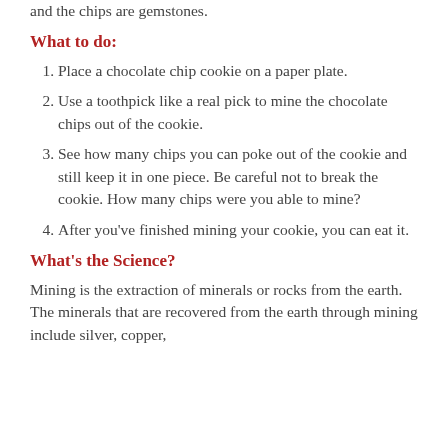and the chips are gemstones.
What to do:
Place a chocolate chip cookie on a paper plate.
Use a toothpick like a real pick to mine the chocolate chips out of the cookie.
See how many chips you can poke out of the cookie and still keep it in one piece. Be careful not to break the cookie. How many chips were you able to mine?
After you've finished mining your cookie, you can eat it.
What's the Science?
Mining is the extraction of minerals or rocks from the earth. The minerals that are recovered from the earth through mining include silver, copper,